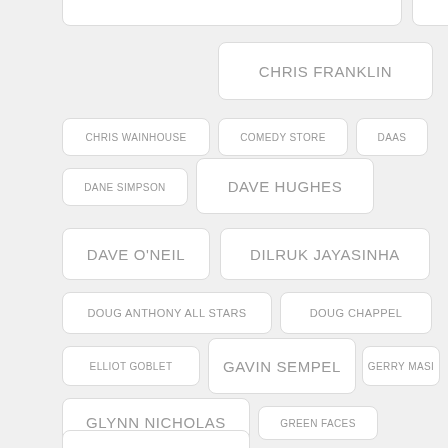CHRIS FRANKLIN
CHRIS WAINHOUSE
COMEDY STORE
DAAS
DANE SIMPSON
DAVE HUGHES
DAVE O'NEIL
DILRUK JAYASINHA
DOUG ANTHONY ALL STARS
DOUG CHAPPEL
ELLIOT GOBLET
GAVIN SEMPEL
GERRY MASI
GLYNN NICHOLAS
GREEN FACES
GREG FLEET